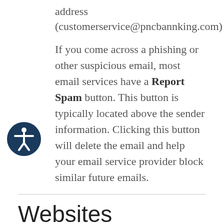address (customerservice@pncbannking.com)
If you come across a phishing or other suspicious email, most email services have a Report Spam button. This button is typically located above the sender information. Clicking this button will delete the email and help your email service provider block similar future emails.
Websites
I've previously talked about encryption, which helps protect your information...